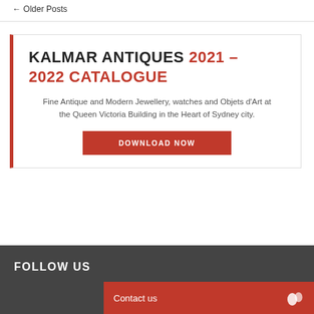← Older Posts
KALMAR ANTIQUES 2021 – 2022 CATALOGUE
Fine Antique and Modern Jewellery, watches and Objets d'Art at the Queen Victoria Building in the Heart of Sydney city.
DOWNLOAD NOW
FOLLOW US
Contact us